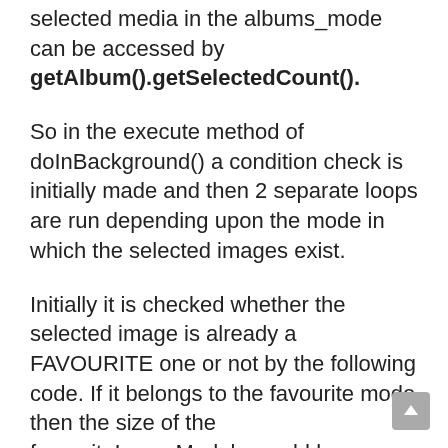selected media in the albums_mode can be accessed by getAlbum().getSelectedCount().
So in the execute method of doInBackground() a condition check is initially made and then 2 separate loops are run depending upon the mode in which the selected images exist.
Initially it is checked whether the selected image is already a FAVOURITE one or not by the following code. If it belongs to the favourite mode then the size of the favouriteImageModels would become 1.